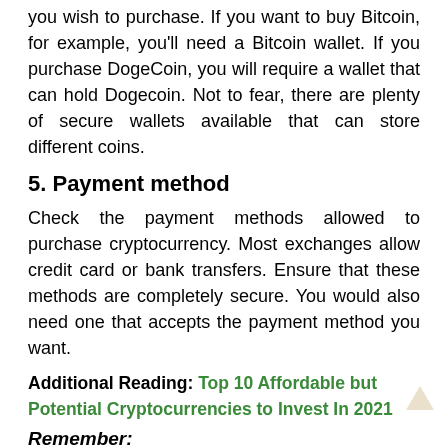you wish to purchase. If you want to buy Bitcoin, for example, you'll need a Bitcoin wallet. If you purchase DogeCoin, you will require a wallet that can hold Dogecoin. Not to fear, there are plenty of secure wallets available that can store different coins.
5. Payment method
Check the payment methods allowed to purchase cryptocurrency. Most exchanges allow credit card or bank transfers. Ensure that these methods are completely secure. You would also need one that accepts the payment method you want.
Additional Reading: Top 10 Affordable but Potential Cryptocurrencies to Invest In 2021
Remember:
The above guide only covers the fundamentals of cryptocurrency investment. Once you begin investing, there are numerous resources available online. Just keep in mind that there will be some